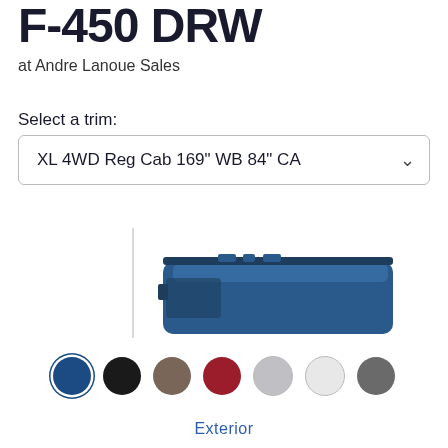F-450 DRW
at Andre Lanoue Sales
Select a trim:
XL 4WD Reg Cab 169" WB 84" CA
[Figure (photo): Partial side view of a blue F-450 DRW truck, showing the roof and upper body, with a vertical line/divider on the left side of the image area.]
[Figure (infographic): Seven circular color swatches in a row: navy blue (selected with ring), black, taupe/brown, dark red/crimson, light gray, white, dark gray.]
Exterior